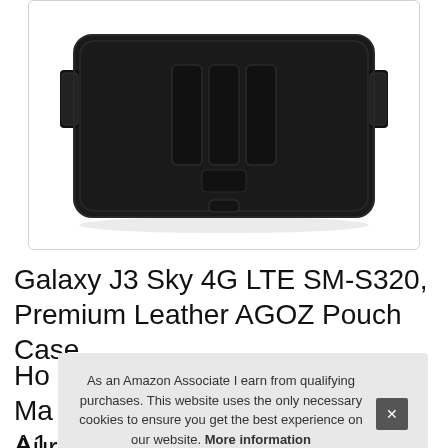[Figure (photo): Black leather horizontal belt clip holster pouch case for smartphone, viewed from the back showing belt clip loops and snap button closure. Dark textured surface with stitching detail.]
Galaxy J3 Sky 4G LTE SM-S320, Premium Leather AGOZ Pouch Case
Ho...
Ma...
A1...
As an Amazon Associate I earn from qualifying purchases. This website uses the only necessary cookies to ensure you get the best experience on our website. More information
Aura, J3 Luna Pro S327VL